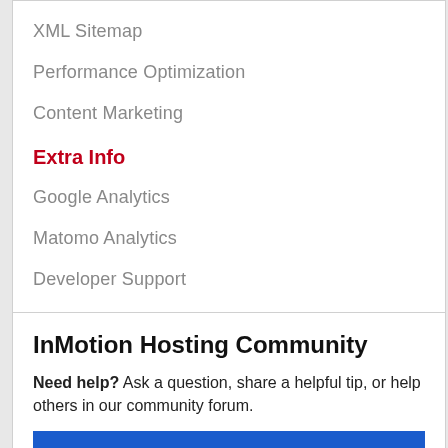XML Sitemap
Performance Optimization
Content Marketing
Extra Info
Google Analytics
Matomo Analytics
Developer Support
InMotion Hosting Community
Need help? Ask a question, share a helpful tip, or help others in our community forum.